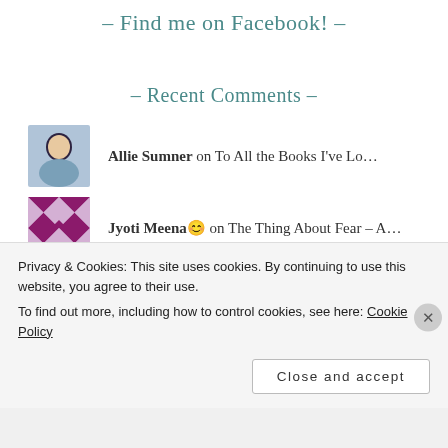- Find me on Facebook! -
- Recent Comments -
Allie Sumner on To All the Books I've Lo…
Jyoti Meena 😊 on The Thing About Fear – A…
bibliomavens on To All the Books I've Lo…
Privacy & Cookies: This site uses cookies. By continuing to use this website, you agree to their use.
To find out more, including how to control cookies, see here: Cookie Policy
Close and accept